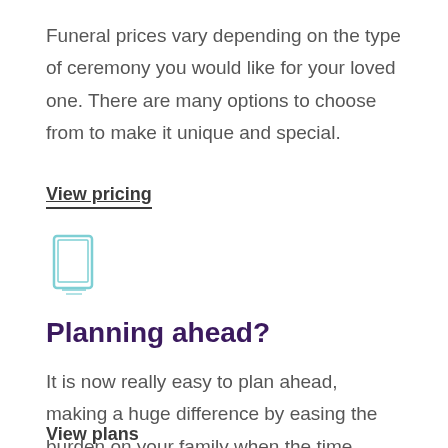Funeral prices vary depending on the type of ceremony you would like for your loved one. There are many options to choose from to make it unique and special.
View pricing
[Figure (illustration): Small icon of a tablet/book device with a light blue outline]
Planning ahead?
It is now really easy to plan ahead, making a huge difference by easing the burden on your family when the time comes, so they can focus on the arrangements.
View plans